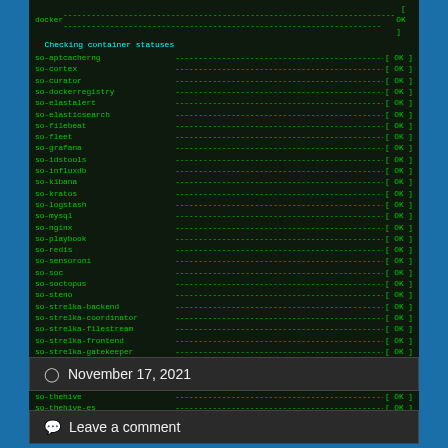[Figure (screenshot): Terminal/console output showing container status check. Line at top shows 'docker' with dashes and [OK]. Blue header 'Checking container statuses'. Then a list of container names (so-aptcacherng through so-zeek) each followed by dashes and [OK] status indicators.]
November 17, 2021
Leave a comment